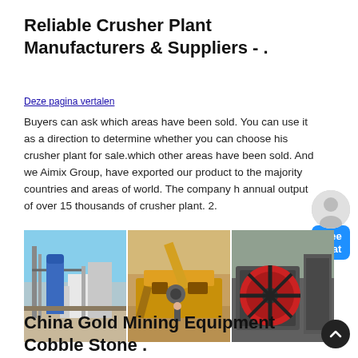Reliable Crusher Plant Manufacturers & Suppliers - .
Deze pagina vertalen
Buyers can ask which areas have been sold. You can use it as a direction to determine whether you can choose his crusher plant for sale.which other areas have been sold. And we Aimix Group, have exported our product to the majority countries and areas of world. The company h annual output of over 15 thousands of crusher plant. 2.
[Figure (photo): Three photos of crusher plant equipment: a blue industrial plant structure on the left, a yellow mining crusher machine in the center, and a red flywheel jaw crusher on the right.]
China Gold Mining Equipment Cobble Stone .